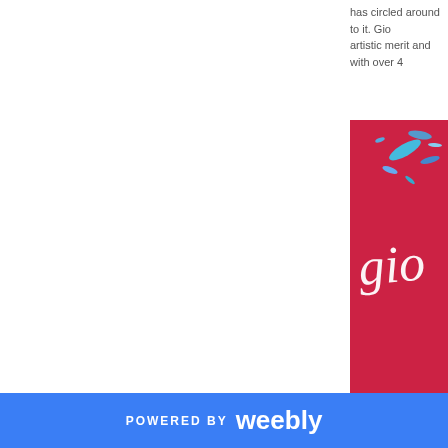has circled around to it. Gio artistic merit and with over 4
[Figure (illustration): Colorful artistic album cover or poster on a red background with iridescent/holographic crystal/diamond shapes and colorful paint splashes, with white cursive text reading 'gio' partially visible]
POWERED BY weebly